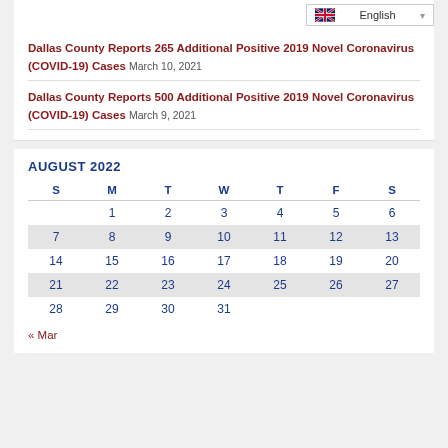Dallas County Reports 265 Additional Positive 2019 Novel Coronavirus (COVID-19) Cases March 10, 2021
Dallas County Reports 500 Additional Positive 2019 Novel Coronavirus (COVID-19) Cases March 9, 2021
| S | M | T | W | T | F | S |
| --- | --- | --- | --- | --- | --- | --- |
|  | 1 | 2 | 3 | 4 | 5 | 6 |
| 7 | 8 | 9 | 10 | 11 | 12 | 13 |
| 14 | 15 | 16 | 17 | 18 | 19 | 20 |
| 21 | 22 | 23 | 24 | 25 | 26 | 27 |
| 28 | 29 | 30 | 31 |  |  |  |
« Mar